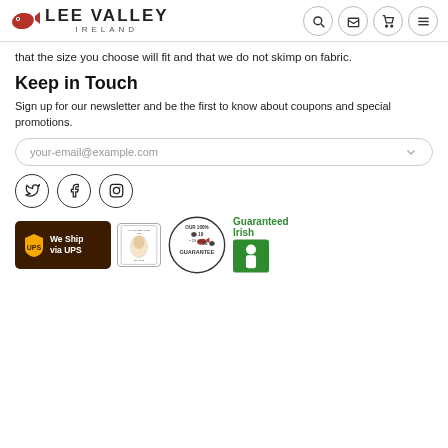Lee Valley Ireland
that the size you choose will fit and that we do not skimp on fabric.
Keep in Touch
Sign up for our newsletter and be the first to know about coupons and special promotions.
your-email@example.com
[Figure (logo): Social media icons: Twitter, Facebook, Instagram in circles]
[Figure (logo): UPS We Ship via UPS badge, My Grandfather logo, Our 100% 1986 Guarantee circle seal, Guaranteed Irish logo]